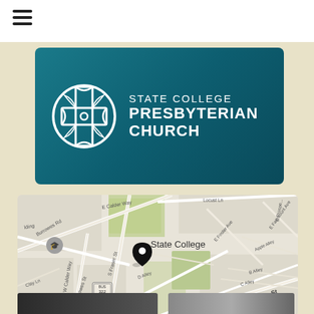[Figure (logo): Hamburger menu icon (three horizontal lines) in top-left nav bar]
[Figure (logo): State College Presbyterian Church logo banner with teal gradient background, circular cross emblem on left, and church name text on right]
[Figure (map): Google Maps view of State College area showing streets including S Fraser St, W Calder Way, E Calder Way, S Burrowes St, E Nittany Ave, S Allen St, D Alley, B Alley, C Alley, Clay Ln, Burrowes Rd, and a map pin marker indicating church location. Holy Trinity church marker visible at bottom left.]
[Figure (photo): Bottom partial images: dark building/structure on left, lighter building on right, partially cut off]